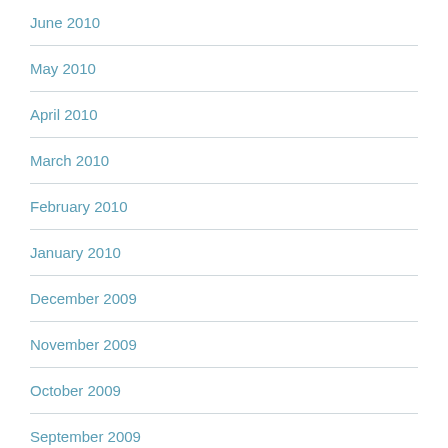June 2010
May 2010
April 2010
March 2010
February 2010
January 2010
December 2009
November 2009
October 2009
September 2009